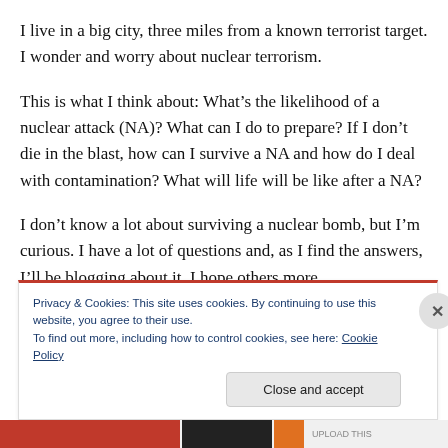I live in a big city, three miles from a known terrorist target. I wonder and worry about nuclear terrorism.
This is what I think about: What’s the likelihood of a nuclear attack (NA)? What can I do to prepare? If I don’t die in the blast, how can I survive a NA and how do I deal with contamination? What will life will be like after a NA?
I don’t know a lot about surviving a nuclear bomb, but I’m curious. I have a lot of questions and, as I find the answers, I’ll be blogging about it. I hope others more
Privacy & Cookies: This site uses cookies. By continuing to use this website, you agree to their use.
To find out more, including how to control cookies, see here: Cookie Policy
Close and accept